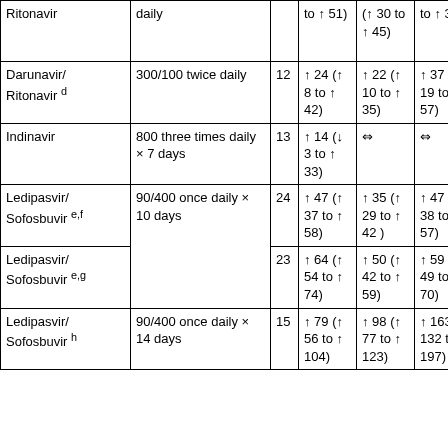| Drug | Dose | N | AUC | Cmax | Cmin |
| --- | --- | --- | --- | --- | --- |
| Ritonavir | daily |  | to ↑ 51) | (↑ 30 to ↑ 45) | to ↑ 36) |
| Darunavir/ Ritonavir d | 300/100 twice daily | 12 | ↑ 24 (↑ 8 to ↑ 42) | ↑ 22 (↑ 10 to ↑ 35) | ↑ 37 (↑ 19 to ↑ 57) |
| Indinavir | 800 three times daily × 7 days | 13 | ↑ 14 (↓ 3 to ↑ 33) | ⇔ | ⇔ |
| Ledipasvir/ Sofosbuvir e,f | 90/400 once daily × 10 days | 24 | ↑ 47 (↑ 37 to ↑ 58) | ↑ 35 (↑ 29 to ↑ 42 ) | ↑ 47 (↑ 38 to ↑ 57) |
| Ledipasvir/ Sofosbuvir e,g | 90/400 once daily × 10 days | 23 | ↑ 64 (↑ 54 to ↑ 74) | ↑ 50 (↑ 42 to ↑ 59) | ↑ 59 (↑ 49 to ↑ 70) |
| Ledipasvir/ Sofosbuvir h | 90/400 once daily × 14 days | 15 | ↑ 79 (↑ 56 to ↑ 104) | ↑ 98 (↑ 77 to ↑ 123) | ↑ 163 (↑ 132 to ↑ 197) |